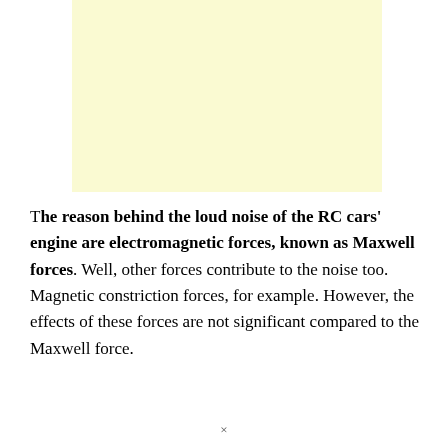[Figure (other): Light yellow/cream colored rectangular box, likely a placeholder for an image related to RC cars or electromagnetic forces.]
The reason behind the loud noise of the RC cars' engine are electromagnetic forces, known as Maxwell forces. Well, other forces contribute to the noise too. Magnetic constriction forces, for example. However, the effects of these forces are not significant compared to the Maxwell force.
×